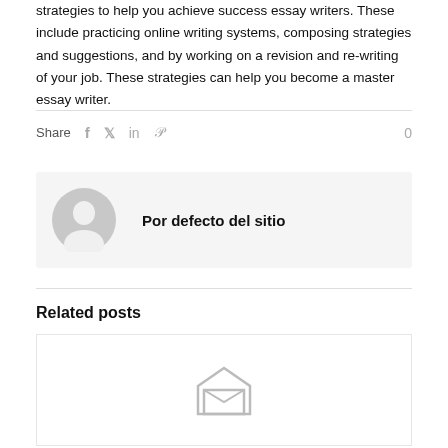strategies to help you achieve success essay writers. These include practicing online writing systems, composing strategies and suggestions, and by working on a revision and re-writing of your job. These strategies can help you become a master essay writer.
Share   f   t   in   P   0
[Figure (illustration): Author avatar placeholder: grey circle with silhouette of a person]
Por defecto del sitio
Related posts
[Figure (illustration): Placeholder image icon showing an envelope/image placeholder symbol in grey]